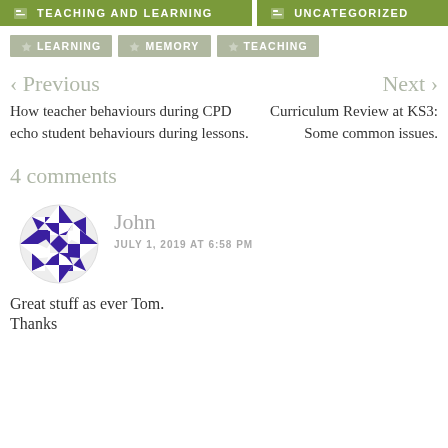TEACHING AND LEARNING
UNCATEGORIZED
LEARNING
MEMORY
TEACHING
< Previous
Next >
How teacher behaviours during CPD echo student behaviours during lessons.
Curriculum Review at KS3: Some common issues.
4 comments
[Figure (illustration): Circular avatar with purple geometric diamond/triangle pattern]
John
JULY 1, 2019 AT 6:58 PM
Great stuff as ever Tom.
Thanks